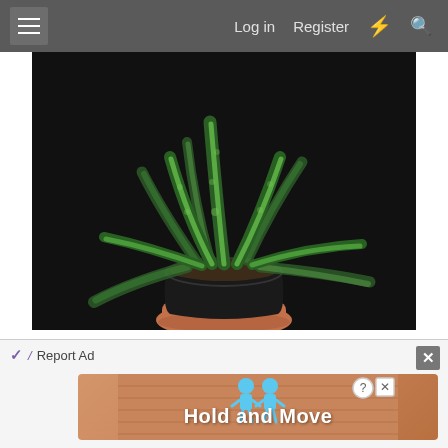Log in  Register
[Figure (photo): A green succulent plant (snake plant / sansevieria) with variegated leaves in a black plastic pot, placed on a terracotta saucer, against a dark black background.]
The reason I wanted to use this as a parent, even though the flowers are much smaller than a regular D...
[Figure (screenshot): Advertisement banner showing 'Report Ad' label and a 'Hold and Move' app advertisement with cartoon characters on a wooden background.]